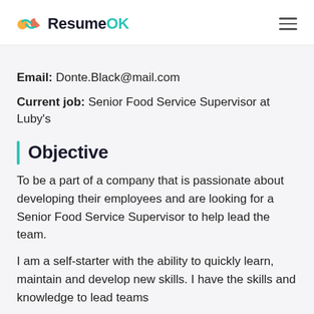ResumeOK
Email: Donte.Black@mail.com
Current job: Senior Food Service Supervisor at Luby's
Objective
To be a part of a company that is passionate about developing their employees and are looking for a Senior Food Service Supervisor to help lead the team.
I am a self-starter with the ability to quickly learn, maintain and develop new skills. I have the skills and knowledge to lead teams